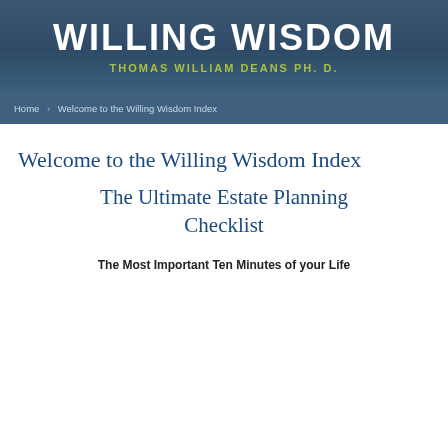WILLING WISDOM
THOMAS WILLIAM DEANS Ph. D.
Home > Welcome to the Willing Wisdom Index
Welcome to the Willing Wisdom Index
The Ultimate Estate Planning Checklist
The Most Important Ten Minutes of your Life